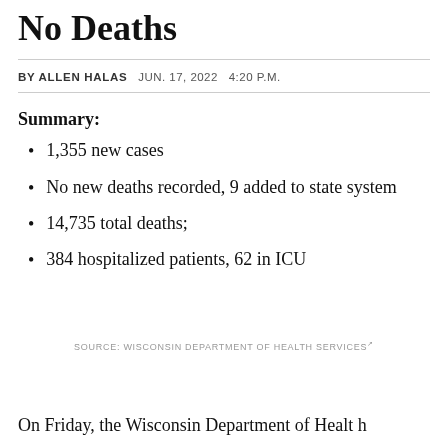No Deaths
BY ALLEN HALAS   JUN. 17, 2022   4:20 P.M.
Summary:
1,355 new cases
No new deaths recorded, 9 added to state system
14,735 total deaths;
384 hospitalized patients, 62 in ICU
SOURCE: WISCONSIN DEPARTMENT OF HEALTH SERVICES
On Friday, the Wisconsin Department of Healt h